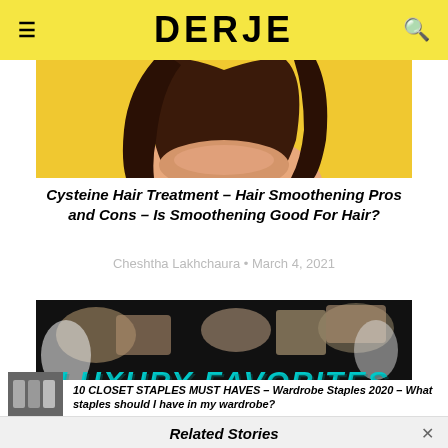DERJE
[Figure (photo): Woman with long dark smooth hair against a yellow background, partially visible from shoulders up]
Cysteine Hair Treatment – Hair Smoothening Pros and Cons – Is Smoothening Good For Hair?
Cheshtha Lakhchaura • March 4, 2021
[Figure (photo): Black background with luxury makeup products and teal text reading LUXURY FAVORITES]
Related Stories
10 CLOSET STAPLES MUST HAVES – Wardrobe Staples 2020 – What staples should I have in my wardrobe?